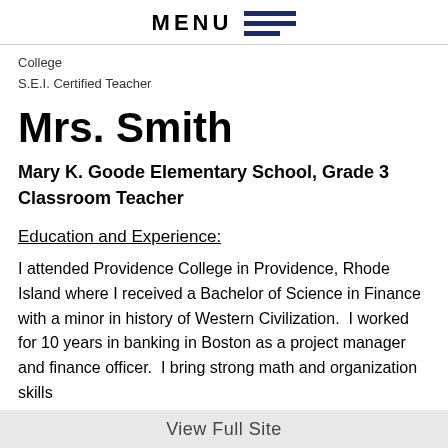MENU
College
S.E.I. Certified Teacher
Mrs. Smith
Mary K. Goode Elementary School, Grade 3 Classroom Teacher
Education and Experience:
I attended Providence College in Providence, Rhode Island where I received a Bachelor of Science in Finance with a minor in history of Western Civilization.  I worked for 10 years in banking in Boston as a project manager and finance officer.  I bring strong math and organization skills
View Full Site